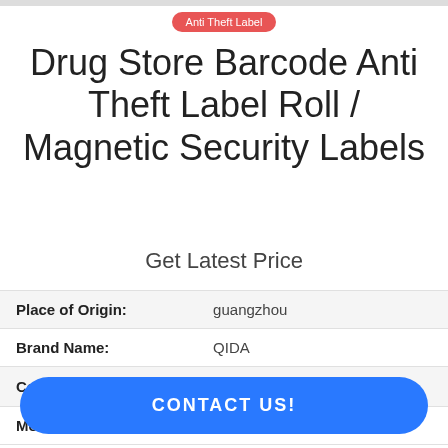Anti Theft Label
Drug Store Barcode Anti Theft Label Roll / Magnetic Security Labels
Get Latest Price
|  |  |
| --- | --- |
| Place of Origin: | guangzhou |
| Brand Name: | QIDA |
| Certification: | ISO9001：2008 |
| Model Number: | Q009 |
CONTACT US!